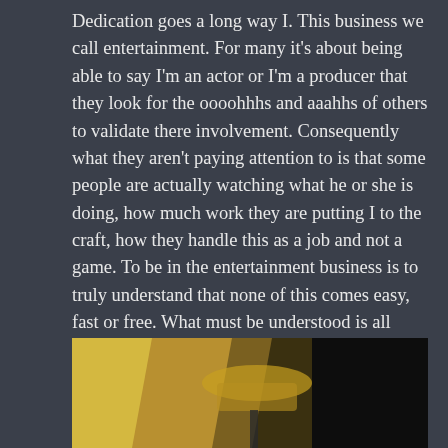Dedication goes a long way I. This business we call entertainment. For many it's about being able to say I'm an actor or I'm a producer that they look for the oooohhhs and aaahhs of others to validate there involvement. Consequently what they aren't paying attention to is that some people are actually watching what he or she is doing, how much work they are putting I to the craft, how they handle this as a job and not a game. To be in the entertainment business is to truly understand that none of this comes easy, fast or free. What must be understood is all eyes are on the best and with that it only gets you I to the next project of this... Business(think).
[Figure (photo): Partially visible photograph showing what appears to be a hat or object in warm yellow/gold tones on the left, against a dark background on the right.]